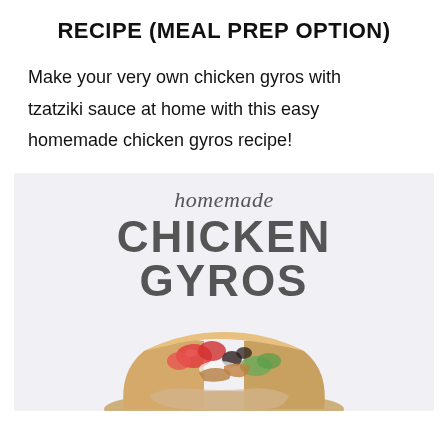RECIPE (MEAL PREP OPTION)
Make your very own chicken gyros with tzatziki sauce at home with this easy homemade chicken gyros recipe!
[Figure (photo): Promotional image for homemade chicken gyros recipe. Light purple/grey background with script text 'homemade' above bold grey uppercase text 'CHICKEN GYROS', with a photograph of a chicken gyro wrap filled with tomatoes, olives, cucumber and chicken at the bottom.]